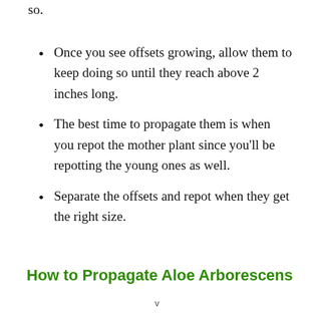so.
Once you see offsets growing, allow them to keep doing so until they reach above 2 inches long.
The best time to propagate them is when you repot the mother plant since you'll be repotting the young ones as well.
Separate the offsets and repot when they get the right size.
How to Propagate Aloe Arborescens